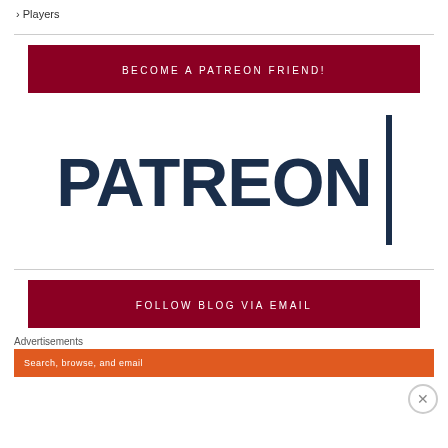› Players
BECOME A PATREON FRIEND!
[Figure (logo): Patreon wordmark logo in dark navy blue with a vertical bar to the right]
FOLLOW BLOG VIA EMAIL
Advertisements
Search, browse, and email